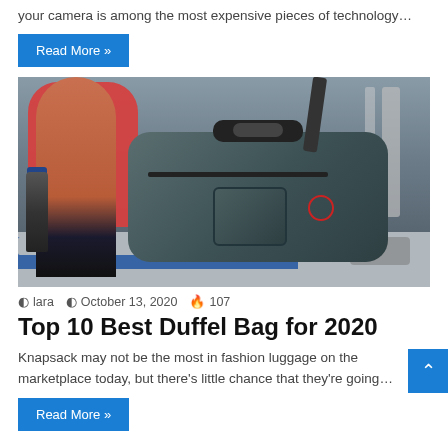your camera is among the most expensive pieces of technology…
Read More »
[Figure (photo): Person in a gym holding a gym duffel bag in one hand and a water bottle in the other, wearing a red shirt, with gym equipment visible in the background.]
lara  October 13, 2020  107
Top 10 Best Duffel Bag for 2020
Knapsack may not be the most in fashion luggage on the marketplace today, but there's little chance that they're going…
Read More »